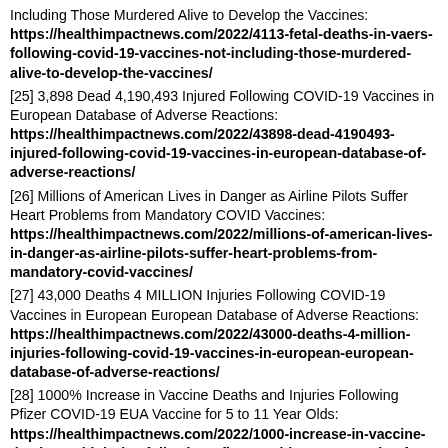Including Those Murdered Alive to Develop the Vaccines: https://healthimpactnews.com/2022/4113-fetal-deaths-in-vaers-following-covid-19-vaccines-not-including-those-murdered-alive-to-develop-the-vaccines/
[25] 3,898 Dead 4,190,493 Injured Following COVID-19 Vaccines in European Database of Adverse Reactions: https://healthimpactnews.com/2022/43898-dead-4190493-injured-following-covid-19-vaccines-in-european-database-of-adverse-reactions/
[26] Millions of American Lives in Danger as Airline Pilots Suffer Heart Problems from Mandatory COVID Vaccines: https://healthimpactnews.com/2022/millions-of-american-lives-in-danger-as-airline-pilots-suffer-heart-problems-from-mandatory-covid-vaccines/
[27] 43,000 Deaths 4 MILLION Injuries Following COVID-19 Vaccines in European European Database of Adverse Reactions: https://healthimpactnews.com/2022/43000-deaths-4-million-injuries-following-covid-19-vaccines-in-european-european-database-of-adverse-reactions/
[28] 1000% Increase in Vaccine Deaths and Injuries Following Pfizer COVID-19 EUA Vaccine for 5 to 11 Year Olds: https://healthimpactnews.com/2022/1000-increase-in-vaccine-deaths-and-injuries-following-pfizer-covid-19-eua-vaccine-for-5-to-11-year-olds/
[29] 42,507 DEAD 3,984,978 Injured Following COVID Vaccines in European Database of Adverse Reactions: https://healthimpactnews.com/2022/42507-dead-3984978-injured-following-covid-vaccines-in-european-database-of-